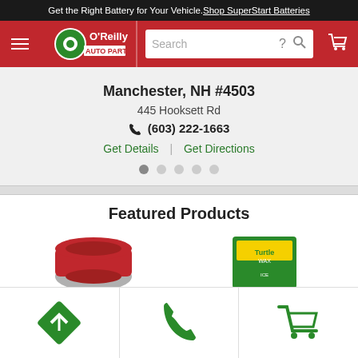Get the Right Battery for Your Vehicle. Shop SuperStart Batteries
[Figure (logo): O'Reilly Auto Parts logo with navigation bar and search field]
Manchester, NH #4503
445 Hooksett Rd
(603) 222-1663
Get Details | Get Directions
Featured Products
[Figure (photo): Two featured product images: a red product on the left and a Turtle Wax product on the right]
[Figure (infographic): Bottom navigation bar with directions icon, phone icon, and shopping cart icon]